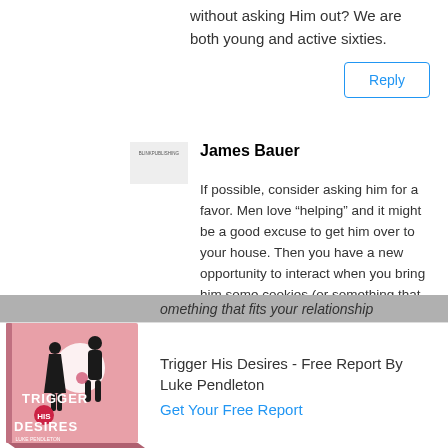without asking Him out? We are both young and active sixties.
Reply
James Bauer
If possible, consider asking him for a favor. Men love “helping” and it might be a good excuse to get him over to your house. Then you have a new opportunity to interact when you bring him some cookies (or something that fits your relationship
[Figure (illustration): Book cover of 'Trigger His Desires' by Luke Pendleton showing silhouettes of a man and woman on a pink background]
Trigger His Desires - Free Report By Luke Pendleton
Get Your Free Report